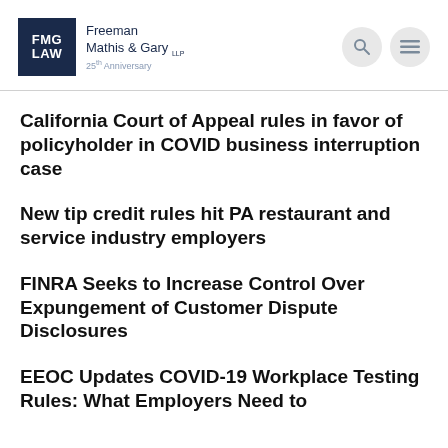[Figure (logo): FMG LAW logo — Freeman Mathis & Gary LLP, 25th Anniversary — dark navy square with white text, followed by firm name text and anniversary tagline]
California Court of Appeal rules in favor of policyholder in COVID business interruption case
New tip credit rules hit PA restaurant and service industry employers
FINRA Seeks to Increase Control Over Expungement of Customer Dispute Disclosures
EEOC Updates COVID-19 Workplace Testing Rules: What Employers Need to